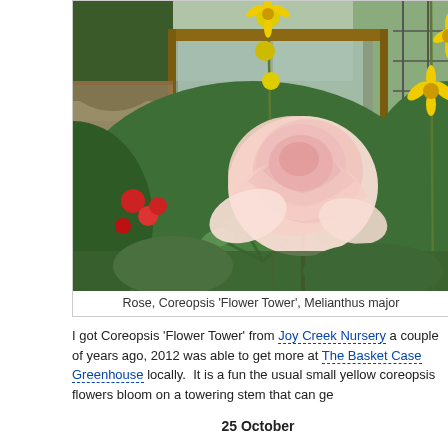[Figure (photo): Garden photo showing a large pale pink rose in the foreground, with yellow Coreopsis 'Flower Tower' flowers on tall stems, red flowers, lush green foliage, and a greenhouse or garden shed structure in the background.]
Rose, Coreopsis 'Flower Tower', Melianthus major
I got Coreopsis 'Flower Tower' from Joy Creek Nursery a couple of years ago, 2012 was able to get more at The Basket Case Greenhouse locally.  It is a fun the usual small yellow coreopsis flowers bloom on a towering stem that can ge
25 October